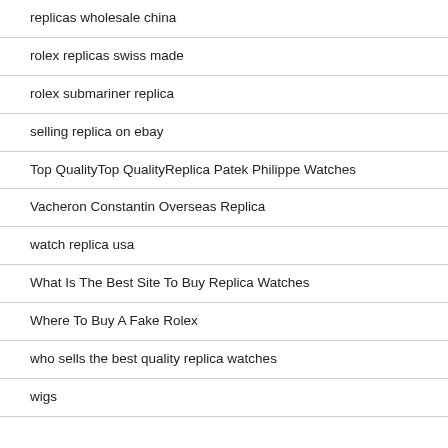replicas wholesale china
rolex replicas swiss made
rolex submariner replica
selling replica on ebay
Top QualityTop QualityReplica Patek Philippe Watches
Vacheron Constantin Overseas Replica
watch replica usa
What Is The Best Site To Buy Replica Watches
Where To Buy A Fake Rolex
who sells the best quality replica watches
wigs